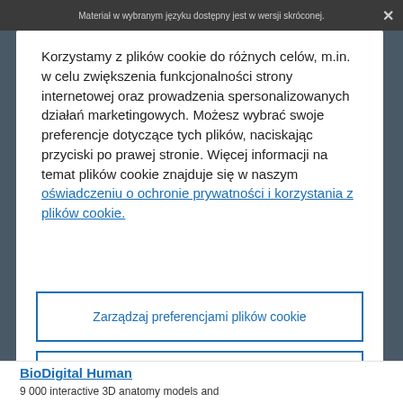Materiał w wybranym języku dostępny jest w wersji skróconej.
Korzystamy z plików cookie do różnych celów, m.in. w celu zwiększenia funkcjonalności strony internetowej oraz prowadzenia spersonalizowanych działań marketingowych. Możesz wybrać swoje preferencje dotyczące tych plików, naciskając przyciski po prawej stronie. Więcej informacji na temat plików cookie znajduje się w naszym oświadczeniu o ochronie prywatności i korzystania z plików cookie.
Zarządzaj preferencjami plików cookie
Odrzuć wszystkie pliki cookie
BioDigital Human
9 000 interactive 3D anatomy models and